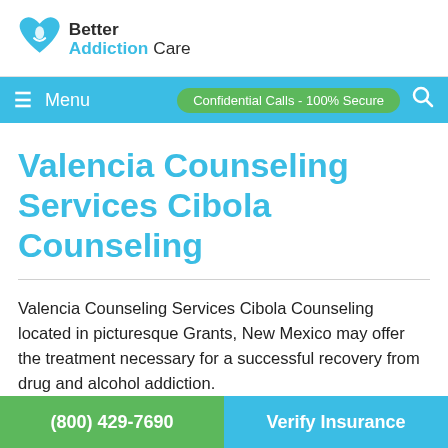[Figure (logo): Better Addiction Care logo with heart icon and text 'Better AddictionCare']
≡  Menu    Confidential Calls - 100% Secure  🔍
Valencia Counseling Services Cibola Counseling
Valencia Counseling Services Cibola Counseling located in picturesque Grants, New Mexico may offer the treatment necessary for a successful recovery from drug and alcohol addiction.
(800) 429-7690    Verify Insurance